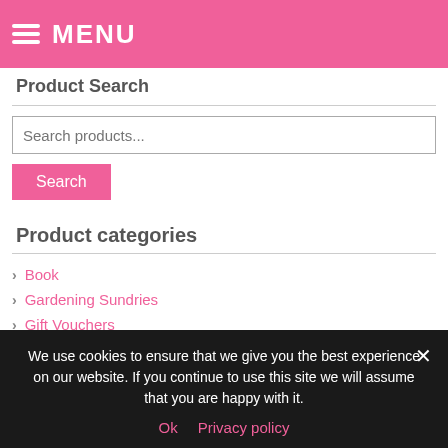MENU
Product Search
Search products...
Search
Product categories
Book
Gardening Sundries
Gift Vouchers
Home & Giftware
Gift Sets
Peony Art
Peonies by Colour
We use cookies to ensure that we give you the best experience on our website. If you continue to use this site we will assume that you are happy with it.
Ok   Privacy policy